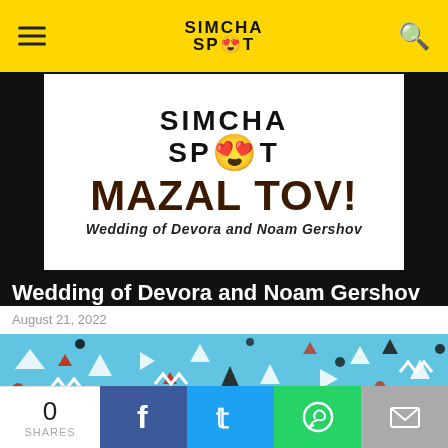SIMCHA SPOT
[Figure (illustration): Simcha Spot logo with MAZAL TOV! text and 'Wedding of Devora and Noam Gershov' subtitle on white background with black border]
Wedding of Devora and Noam Gershov
August 21, 2022
[Figure (illustration): Confetti pattern on blue background with triangles and zigzag shapes in red, white, and black]
0 SHARES